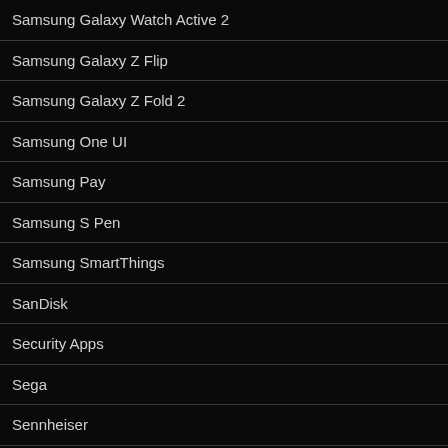Samsung Galaxy Watch Active 2
Samsung Galaxy Z Flip
Samsung Galaxy Z Fold 2
Samsung One UI
Samsung Pay
Samsung S Pen
Samsung SmartThings
SanDisk
Security Apps
Sega
Sennheiser
Signal
Simulation Games